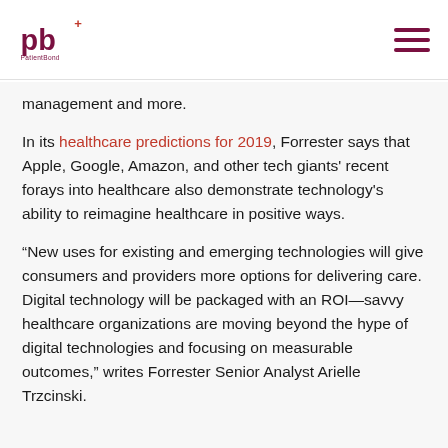PatientBond logo and navigation
management and more.
In its healthcare predictions for 2019, Forrester says that Apple, Google, Amazon, and other tech giants' recent forays into healthcare also demonstrate technology's ability to reimagine healthcare in positive ways.
“New uses for existing and emerging technologies will give consumers and providers more options for delivering care. Digital technology will be packaged with an ROI—savvy healthcare organizations are moving beyond the hype of digital technologies and focusing on measurable outcomes,” writes Forrester Senior Analyst Arielle Trzcinski.